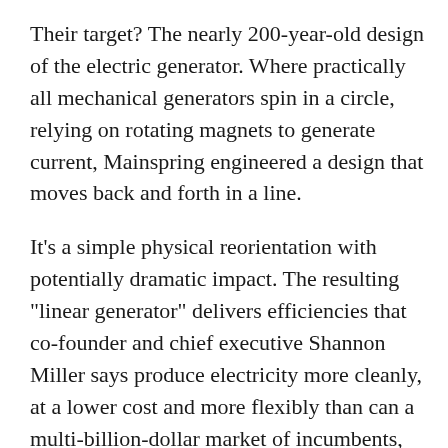Their target? The nearly 200-year-old design of the electric generator. Where practically all mechanical generators spin in a circle, relying on rotating magnets to generate current, Mainspring engineered a design that moves back and forth in a line.
It's a simple physical reorientation with potentially dramatic impact. The resulting "linear generator" delivers efficiencies that co-founder and chief executive Shannon Miller says produce electricity more cleanly, at a lower cost and more flexibly than can a multi-billion-dollar market of incumbents, including turbines, reciprocating engines and fuel cells.
And after a decade of development, the linear generator is scaling into commercial production at a time of sharply growing demand for flexible options that can support the grid sustainably. "Extreme weather events and the rise of electrification are driving increasing demands on the electric